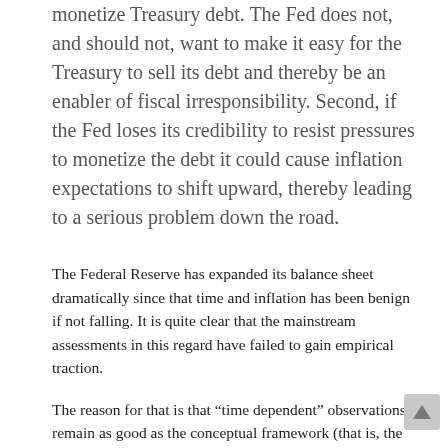monetize Treasury debt. The Fed does not, and should not, want to make it easy for the Treasury to sell its debt and thereby be an enabler of fiscal irresponsibility. Second, if the Fed loses its credibility to resist pressures to monetize the debt it could cause inflation expectations to shift upward, thereby leading to a serious problem down the road.
The Federal Reserve has expanded its balance sheet dramatically since that time and inflation has been benign if not falling. It is quite clear that the mainstream assessments in this regard have failed to gain empirical traction.
The reason for that is that “time dependent” observations remain as good as the conceptual framework (that is, the “understanding”) that backs them up. Mishkin’s conceptual